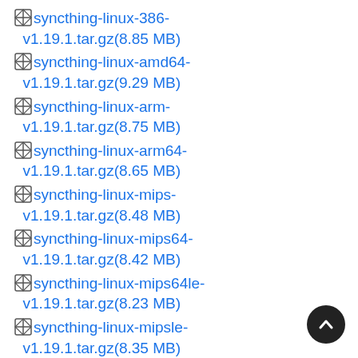syncthing-linux-386-v1.19.1.tar.gz(8.85 MB)
syncthing-linux-amd64-v1.19.1.tar.gz(9.29 MB)
syncthing-linux-arm-v1.19.1.tar.gz(8.75 MB)
syncthing-linux-arm64-v1.19.1.tar.gz(8.65 MB)
syncthing-linux-mips-v1.19.1.tar.gz(8.48 MB)
syncthing-linux-mips64-v1.19.1.tar.gz(8.42 MB)
syncthing-linux-mips64le-v1.19.1.tar.gz(8.23 MB)
syncthing-linux-mipsle-v1.19.1.tar.gz(8.35 MB)
syncthing-linux-ppc64-v1.19.1.tar.gz(8.57 MB)
syncthing-linux-ppc64le-